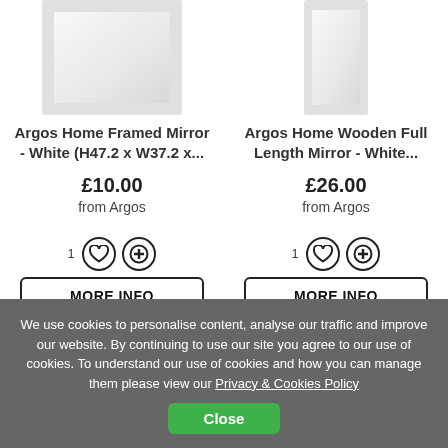[Figure (photo): Argos Home Framed Mirror - White, top cropped view]
[Figure (photo): Argos Home Wooden Full Length Mirror - White, top cropped view]
Argos Home Framed Mirror - White (H47.2 x W37.2 x...
£10.00
from Argos
Argos Home Wooden Full Length Mirror - White...
£26.00
from Argos
We use cookies to personalise content, analyse our traffic and improve our website. By continuing to use our site you agree to our use of cookies. To understand our use of cookies and how you can manage them please view our Privacy & Cookies Policy